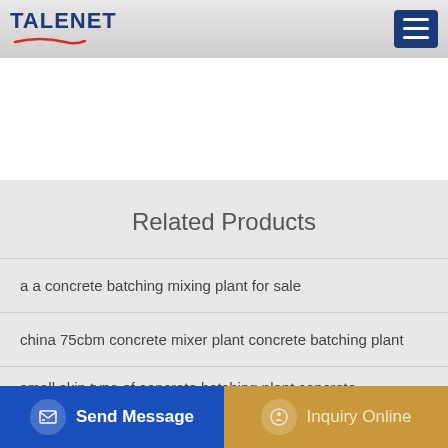TALENET
Related Products
a a concrete batching mixing plant for sale
china 75cbm concrete mixer plant concrete batching plant
small skip type of concrete batching plant concrete
hzs75 concrete mixing plant for sale in calabarzon ZNL